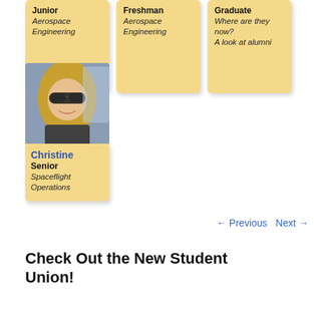[Figure (photo): Card for a Junior in Aerospace Engineering (top row, first card, partial/cropped)]
[Figure (photo): Card for a Freshman in Aerospace Engineering (top row, second card, partial/cropped)]
[Figure (photo): Card for a Graduate - Where are they now? A look at alumni (top row, third card, partial/cropped)]
[Figure (photo): Profile photo of Christine, a smiling woman with blonde hair and sunglasses seated in a car]
Christine
Senior
Spaceflight Operations
← Previous   Next →
Check Out the New Student Union!